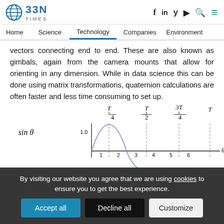BBN TIMES — Home | Science | Technology | Companies | Environment
vectors connecting end to end. These are also known as gimbals, again from the camera mounts that allow for orienting in any dimension. While in data science this can be done using matrix transformations, quaternion calculations are often faster and less time consuming to set up.
[Figure (continuous-plot): Sine wave plot showing sin θ on the y-axis with value 1.0 marked, and θ on the x-axis with numbered intervals 1-6. Vertical dashed lines at T/4, T/2, 3T/4, and T are labeled above the x-axis. A partial arch of a sine curve is visible.]
By visiting our website you agree that we are using cookies to ensure you to get the best experience.